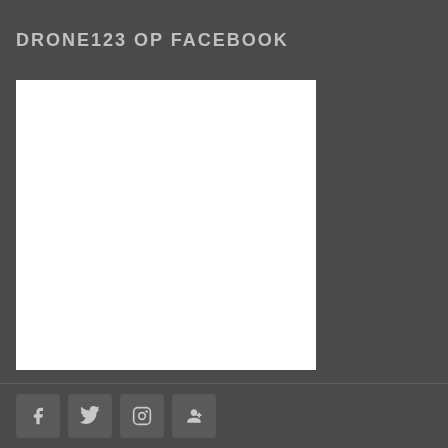DRONE123 OP FACEBOOK
[Figure (other): White Facebook widget embed area (blank/loading state)]
Social media icon buttons: Facebook, Twitter, Instagram, Google+